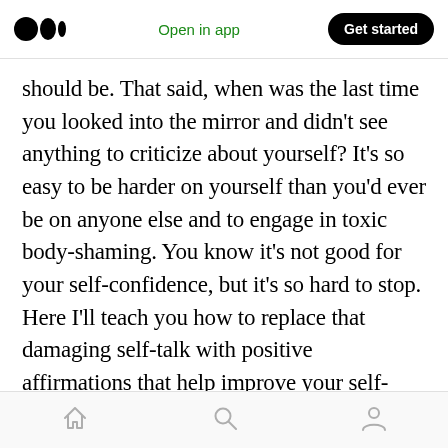Medium logo | Open in app | Get started
should be. That said, when was the last time you looked into the mirror and didn't see anything to criticize about yourself? It's so easy to be harder on yourself than you'd ever be on anyone else and to engage in toxic body-shaming. You know it's not good for your self-confidence, but it's so hard to stop. Here I'll teach you how to replace that damaging self-talk with positive affirmations that help improve your self-esteem. You deserve to feel good about yourself and be happy with what you see in the mirror.
Home | Search | Profile